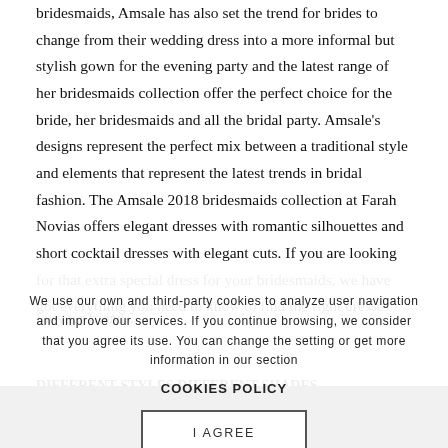bridesmaids, Amsale has also set the trend for brides to change from their wedding dress into a more informal but stylish gown for the evening party and the latest range of her bridesmaids collection offer the perfect choice for the bride, her bridesmaids and all the bridal party. Amsale's designs represent the perfect mix between a traditional style and elements that represent the latest trends in bridal fashion. The Amsale 2018 bridesmaids collection at Farah Novias offers elegant dresses with romantic silhouettes and short cocktail dresses with elegant cuts. If you are looking for that extra special dress for your bridesmaids, we have got everything you need to know to find the right dresses for your friends.
We use our own and third-party cookies to analyze user navigation and improve our services. If you continue browsing, we consider that you agree its use. You can change the setting or get more information in our section
COOKIES POLICY
I AGREE
DIFFERENT STYLES DIFFERENT SHADES
Choose a base colour, then let your bridesmaids pick out their own dresses in different shades of the same colour.